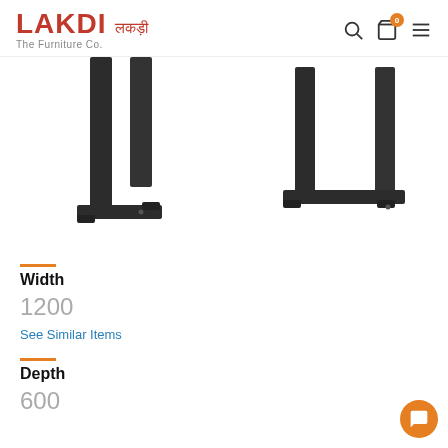LAKDI लकड़ी The Furniture Co.
[Figure (photo): Two black metal U-shaped table legs shown from different angles on white background. Left image shows a single leg from front, right image shows a leg from a side/angle view.]
Width
1200
See Similar Items
Depth
600